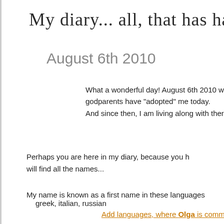My diary... all, that has happened in m
August 6th 2010
What a wonderful day! August 6th 2010 w godparents have "adopted" me today. And since then, I am living along with ther
Perhaps you are here in my diary, because you h will find all the names...
My name is known as a first name in these languages
greek, italian, russian
Add languages, where Olga is common.